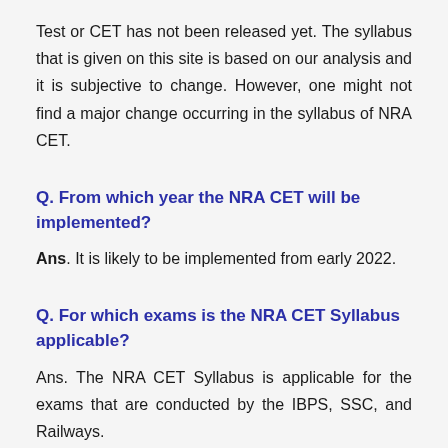Test or CET has not been released yet. The syllabus that is given on this site is based on our analysis and it is subjective to change. However, one might not find a major change occurring in the syllabus of NRA CET.
Q. From which year the NRA CET will be implemented?
Ans. It is likely to be implemented from early 2022.
Q. For which exams is the NRA CET Syllabus applicable?
Ans. The NRA CET Syllabus is applicable for the exams that are conducted by the IBPS, SSC, and Railways.